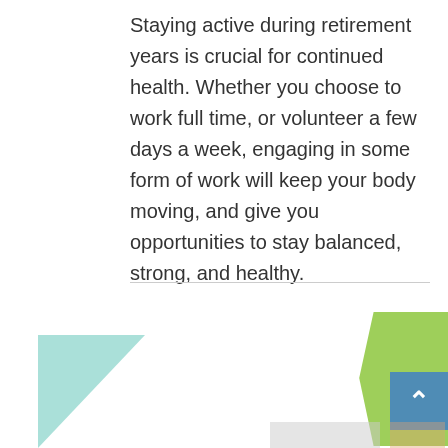Staying active during retirement years is crucial for continued health. Whether you choose to work full time, or volunteer a few days a week, engaging in some form of work will keep your body moving, and give you opportunities to stay balanced, strong, and healthy.
[Figure (illustration): Decorative shapes: a teal/mint triangle on the left side, a green trapezoid/hexagon shape on the right, a blue square button with an up arrow (^), and partial photo thumbnails at the bottom.]